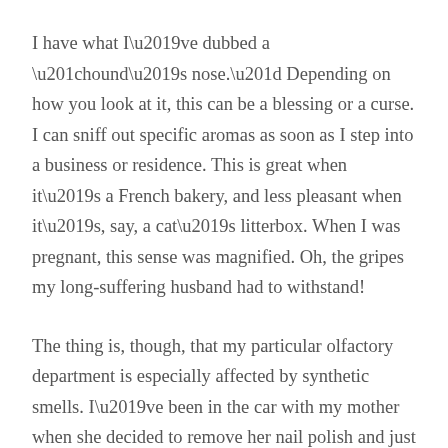I have what I’ve dubbed a “hound’s nose.” Depending on how you look at it, this can be a blessing or a curse. I can sniff out specific aromas as soon as I step into a business or residence. This is great when it’s a French bakery, and less pleasant when it’s, say, a cat’s litterbox. When I was pregnant, this sense was magnified. Oh, the gripes my long-suffering husband had to withstand!
The thing is, though, that my particular olfactory department is especially affected by synthetic smells. I’ve been in the car with my mother when she decided to remove her nail polish and just about had to pull the car over because of my intense reaction to her polish remover’s scent. So when it comes to fragrances in my home, I go as natural as possible. There are a number of truly wonderful room sanitizers available for purchase today, but I lov…